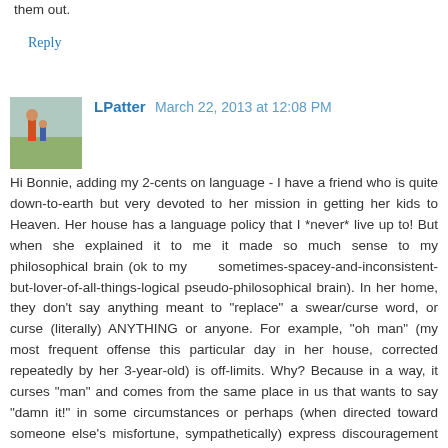them out.
Reply
LPatter  March 22, 2013 at 12:08 PM
Hi Bonnie, adding my 2-cents on language - I have a friend who is quite down-to-earth but very devoted to her mission in getting her kids to Heaven. Her house has a language policy that I *never* live up to! But when she explained it to me it made so much sense to my philosophical brain (ok to my sometimes-spacey-and-inconsistent-but-lover-of-all-things-logical pseudo-philosophical brain). In her home, they don't say anything meant to "replace" a swear/curse word, or curse (literally) ANYTHING or anyone. For example, "oh man" (my most frequent offense this particular day in her house, corrected repeatedly by her 3-year-old) is off-limits. Why? Because in a way, it curses "man" and comes from the same place in us that wants to say "damn it!" in some circumstances or perhaps (when directed toward someone else's misfortune, sympathetically) express discouragement or despair at the prospect of what someone is facing (and that God is